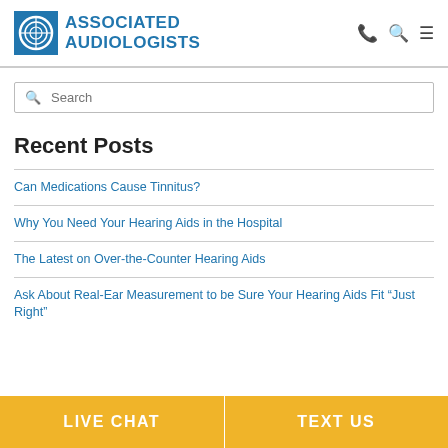ASSOCIATED AUDIOLOGISTS
Search
Recent Posts
Can Medications Cause Tinnitus?
Why You Need Your Hearing Aids in the Hospital
The Latest on Over-the-Counter Hearing Aids
Ask About Real-Ear Measurement to be Sure Your Hearing Aids Fit “Just Right”
LIVE CHAT | TEXT US